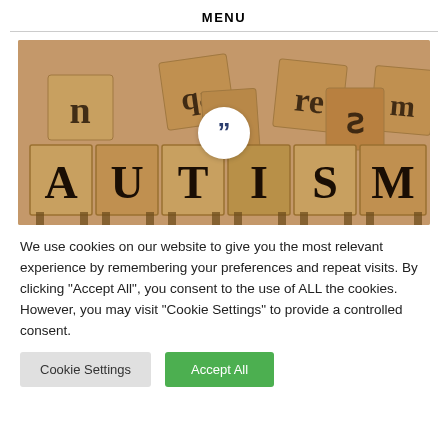MENU
[Figure (photo): Wooden letter blocks spelling AUTISM on a table, with scattered letter blocks in the background. A white circular play/quote button overlays the center of the image.]
We use cookies on our website to give you the most relevant experience by remembering your preferences and repeat visits. By clicking "Accept All", you consent to the use of ALL the cookies. However, you may visit "Cookie Settings" to provide a controlled consent.
Cookie Settings | Accept All